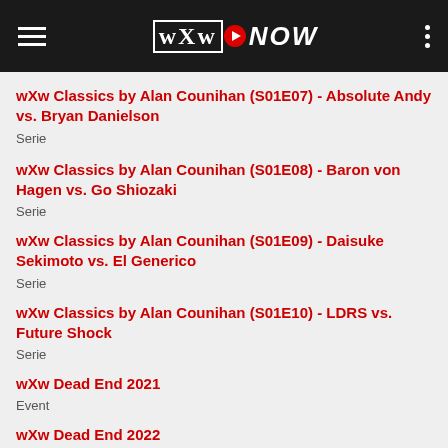wXw NOW
wXw Classics by Alan Counihan (S01E07) - Absolute Andy vs. Bryan Danielson
Serie
wXw Classics by Alan Counihan (S01E08) - Baron von Hagen vs. Go Shiozaki
Serie
wXw Classics by Alan Counihan (S01E09) - Daisuke Sekimoto vs. El Generico
Serie
wXw Classics by Alan Counihan (S01E10) - LDRS vs. Future Shock
Serie
wXw Dead End 2021
Event
wXw Dead End 2022